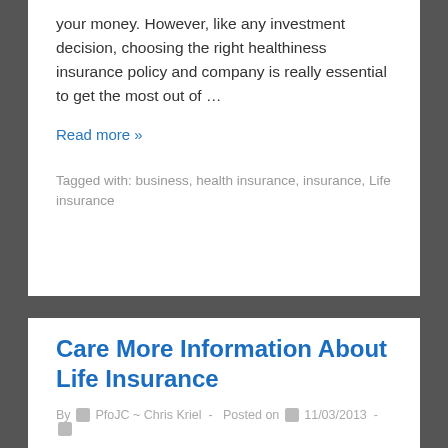your money. However, like any investment decision, choosing the right healthiness insurance policy and company is really essential to get the most out of …
Read more »
Tagged with: business, health insurance, insurance, Life insurance
Care More Information About Life Insurance
By PfoJC ~ Chris Kriel - Posted on 11/03/2013 -